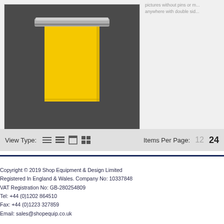[Figure (photo): Product photo showing a yellow poster or sign hanging from a silver wall-mounted rail/holder against a dark grey background]
pictures without pins or m... anywhere with double sid...
View Type:     [icons]     Items Per Page:   12   24
Copyright © 2019 Shop Equipment & Design Limited
Registered In England & Wales. Company No: 10337848
VAT Registration No: GB-280254809
Tel: +44 (0)1202 864510
Fax: +44 (0)1223 327859
Email: sales@shopequip.co.uk